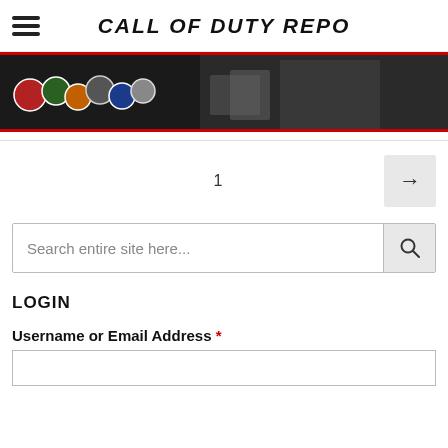CALL OF DUTY REPO
[Figure (photo): Banner image showing Call of Duty patches, emblems and merchandise on dark background with red border]
1
Search entire site here...
LOGIN
Username or Email Address *